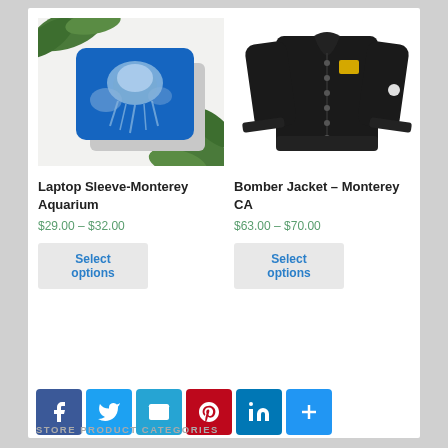[Figure (photo): Laptop sleeve with jellyfish/Monterey Aquarium design on a white surface with green leaves]
[Figure (photo): Black bomber jacket with yellow logo patch on chest]
Laptop Sleeve-Monterey Aquarium
$29.00 – $32.00
Select options
Bomber Jacket – Monterey CA
$63.00 – $70.00
Select options
STORE PRODUCT CATEGORIES